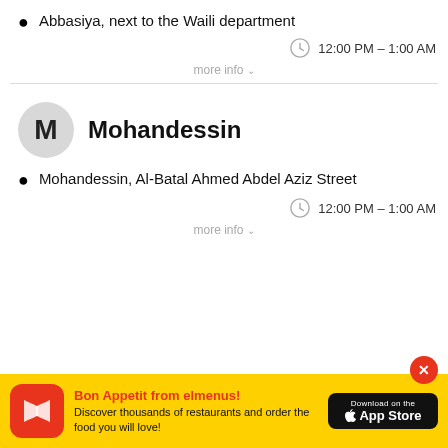Abbasiya, next to the Waili department
12:00 PM – 1:00 AM
more info
Mohandessin
Mohandessin, Al-Batal Ahmed Abdel Aziz Street
12:00 PM – 1:00 AM
more info
Bon Appetit from elmenus! Discover thousands of restaurants and order the food you will love!